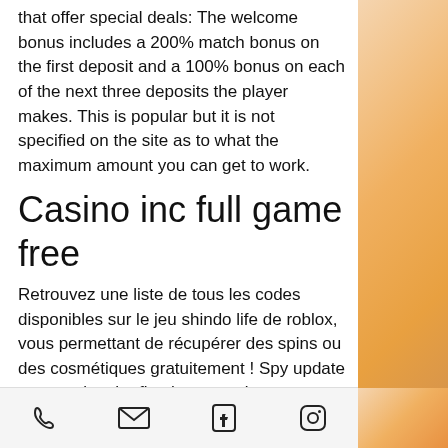that offer special deals: The welcome bonus includes a 200% match bonus on the first deposit and a 100% bonus on each of the next three deposits the player makes. This is popular but it is not specified on the site as to what the maximum amount you can get to work.
Casino inc full game free
Retrouvez une liste de tous les codes disponibles sur le jeu shindo life de roblox, vous permettant de récupérer des spins ou des cosmétiques gratuitement ! Spy update announcing the first hats as a bonus. Items) are items that can be equipped in any one of the three cosmetic slots in the loadout screen. Georgia house appropriations committee chairman terry england, center, signs his final budget on monday, april 4,
phone | email | facebook | instagram